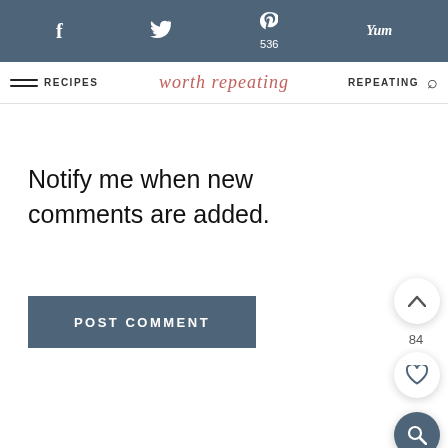f  [twitter]  p 536  Yum
RECIPES  worth repeating  REPEATING
Notify me when new comments are added.
POST COMMENT
[Figure (photo): Partial view of a person's head with blonde hair, inside a circular crop, at bottom of page]